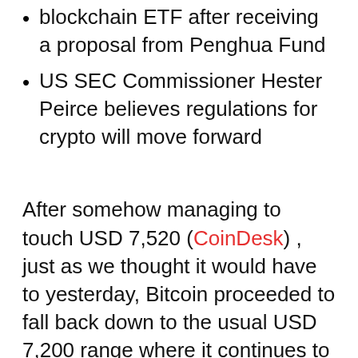blockchain ETF after receiving a proposal from Penghua Fund
US SEC Commissioner Hester Peirce believes regulations for crypto will move forward
After somehow managing to touch USD 7,520 (CoinDesk) , just as we thought it would have to yesterday, Bitcoin proceeded to fall back down to the usual USD 7,200 range where it continues to trade the Monday after Christmas.
It does not seem as if there will be any surprise moves for the remainder of 2019 as Monday begins to end for most of the world,